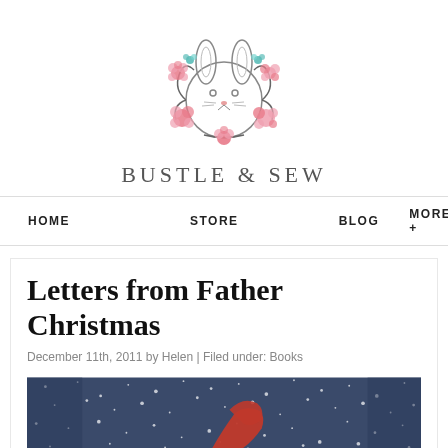[Figure (logo): Bustle & Sew logo: a cute bunny face surrounded by a wreath of pink and teal flowers and dark leafy stems]
BUSTLE & SEW
HOME   STORE   BLOG   MORE +
Letters from Father Christmas
December 11th, 2011 by Helen | Filed under: Books
[Figure (photo): A snowy night scene with a red figure (Father Christmas/Santa) visible against a dark blue background filled with falling snow]